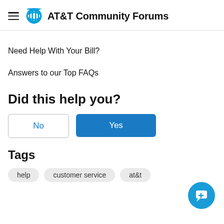AT&T Community Forums
Need Help With Your Bill?
Answers to our Top FAQs
Did this help you?
No
Yes
Tags
help
customer service
at&t